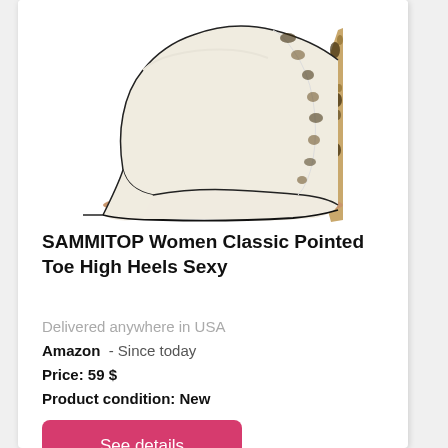[Figure (photo): A women's high heel pump shoe with pointed toe, cream/white body and leopard print stiletto heel, photographed on white background from a side angle.]
SAMMITOP Women Classic Pointed Toe High Heels Sexy
Delivered anywhere in USA
Amazon  - Since today
Price: 59 $
Product condition: New